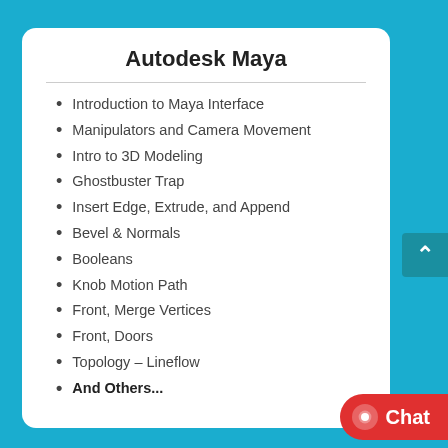Autodesk Maya
Introduction to Maya Interface
Manipulators and Camera Movement
Intro to 3D Modeling
Ghostbuster Trap
Insert Edge, Extrude, and Append
Bevel & Normals
Booleans
Knob Motion Path
Front, Merge Vertices
Front, Doors
Topology – Lineflow
And Others...